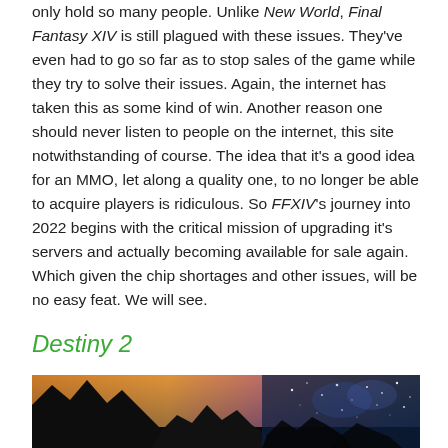only hold so many people. Unlike New World, Final Fantasy XIV is still plagued with these issues. They've even had to go so far as to stop sales of the game while they try to solve their issues. Again, the internet has taken this as some kind of win. Another reason one should never listen to people on the internet, this site notwithstanding of course. The idea that it's a good idea for an MMO, let along a quality one, to no longer be able to acquire players is ridiculous. So FFXIV's journey into 2022 begins with the critical mission of upgrading it's servers and actually becoming available for sale again. Which given the chip shortages and other issues, will be no easy feat. We will see.
Destiny 2
[Figure (photo): Dark fantasy/sci-fi landscape with silhouetted rocky peaks against a dramatic sky with orange and blue tones and starry light effects]